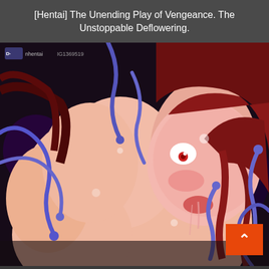[Hentai] The Unending Play of Vengeance. The Unstoppable Deflowering.
[Figure (illustration): Anime-style illustration depicting two female figures with red/dark hair entwined with purple tentacle-like appendages against a dark background. A small watermark logo and text 'IG1369519' is visible in the upper left corner of the image. An orange back-to-top button with a chevron arrow is overlaid in the lower right.]